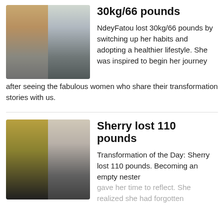30kg/66 pounds
[Figure (photo): Before and after photos of NdeyFatou showing weight loss transformation]
NdeyFatou lost 30kg/66 pounds by switching up her habits and adopting a healthier lifestyle. She was inspired to begin her journey after seeing the fabulous women who share their transformation stories with us.
Sherry lost 110 pounds
[Figure (photo): Before and after photos of Sherry showing weight loss transformation]
Transformation of the Day: Sherry lost 110 pounds. Becoming an empty nester gave her time to reflect. She realized she had forgotten